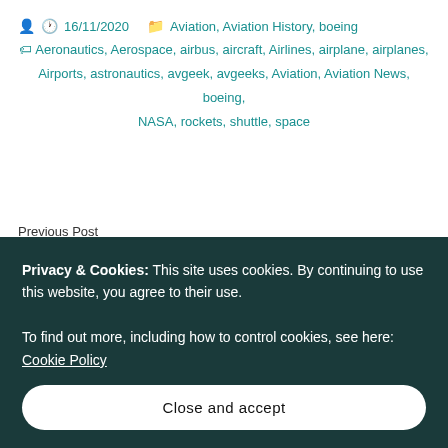16/11/2020  Aviation, Aviation History, boeing
Aeronautics, Aerospace, airbus, aircraft, Airlines, airplane, airplanes, Airports, astronautics, avgeek, avgeeks, Aviation, Aviation News, boeing, NASA, rockets, shuttle, space
Previous Post
Learn about VFR and IFR Flying
Privacy & Cookies: This site uses cookies. By continuing to use this website, you agree to their use.
To find out more, including how to control cookies, see here: Cookie Policy
Close and accept